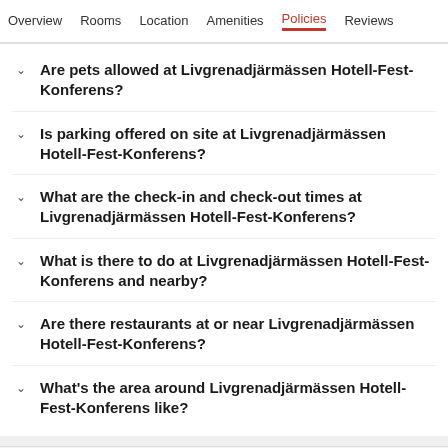Overview  Rooms  Location  Amenities  Policies  Reviews
Are pets allowed at Livgrenadjärmässen Hotell-Fest-Konferens?
Is parking offered on site at Livgrenadjärmässen Hotell-Fest-Konferens?
What are the check-in and check-out times at Livgrenadjärmässen Hotell-Fest-Konferens?
What is there to do at Livgrenadjärmässen Hotell-Fest-Konferens and nearby?
Are there restaurants at or near Livgrenadjärmässen Hotell-Fest-Konferens?
What's the area around Livgrenadjärmässen Hotell-Fest-Konferens like?
9.0  Superb  146 reviews